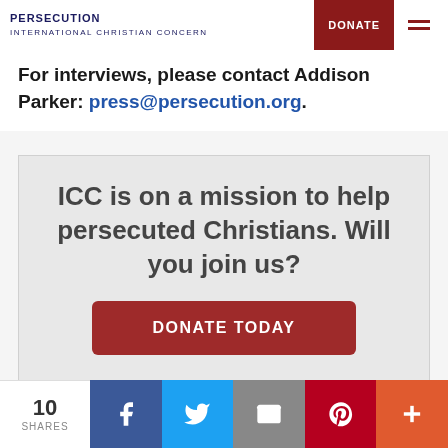PERSECUTION INTERNATIONAL CHRISTIAN CONCERN | DONATE
For interviews, please contact Addison Parker: press@persecution.org.
ICC is on a mission to help persecuted Christians. Will you join us?
DONATE TODAY
Top Stories
10 SHARES